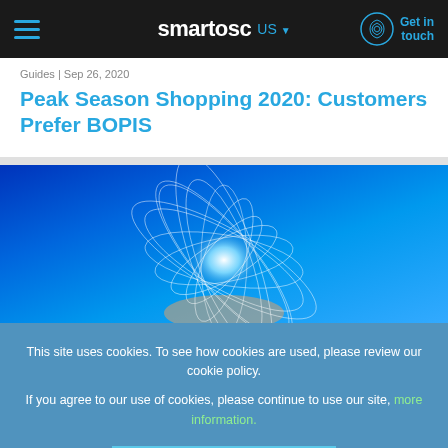smartosc US — Get in touch
Guides | Sep 26, 2020
Peak Season Shopping 2020: Customers Prefer BOPIS
[Figure (photo): Blue digital energy sphere held in hands with white glowing spiral network lines on blue background]
This site uses cookies. To see how cookies are used, please review our cookie policy.

If you agree to our use of cookies, please continue to use our site, more information.
AGREE